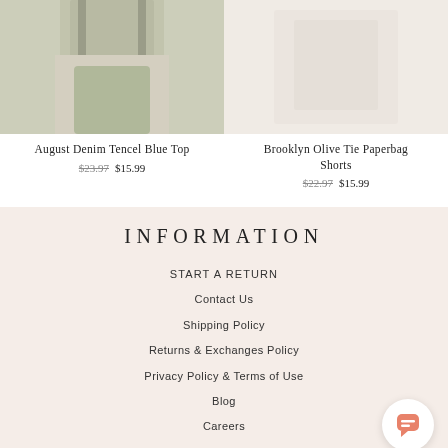[Figure (photo): Model wearing August Denim Tencel Blue Top, cropped view showing torso and shorts]
August Denim Tencel Blue Top
$23.97  $15.99
[Figure (photo): Brooklyn Olive Tie Paperbag Shorts product photo, light background]
Brooklyn Olive Tie Paperbag Shorts
$22.97  $15.99
INFORMATION
START A RETURN
Contact Us
Shipping Policy
Returns & Exchanges Policy
Privacy Policy & Terms of Use
Blog
Careers
Press